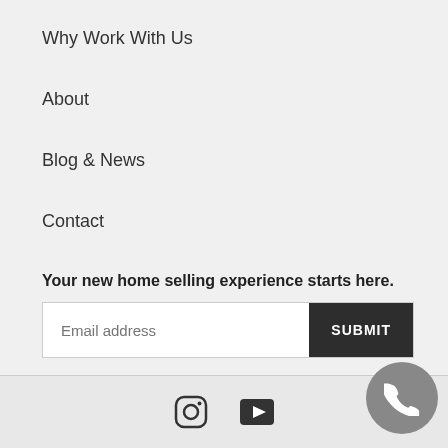Why Work With Us
About
Blog & News
Contact
Your new home selling experience starts here.
[Figure (other): Email address input field with SUBMIT button]
[Figure (other): Footer with Instagram icon, YouTube/video play icon, and phone call button]